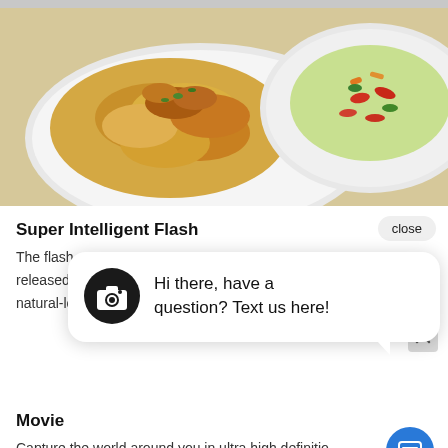[Figure (photo): Two white plates of food on a table: left plate has fried calamari or similar battered seafood with herbs; right plate has a colorful salad with shrimp and vegetables.]
Super Intelligent Flash
The flash automatically released according to natural-looking
[Figure (screenshot): Chat popup overlay with camera icon and text: Hi there, have a question? Text us here!]
Movie
Capture the world around you in ultra high definition 4K movie, bringing the atmosphere and emotion of a